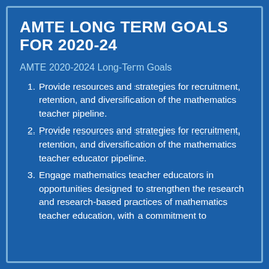AMTE LONG TERM GOALS FOR 2020-24
AMTE 2020-2024 Long-Term Goals
Provide resources and strategies for recruitment, retention, and diversification of the mathematics teacher pipeline.
Provide resources and strategies for recruitment, retention, and diversification of the mathematics teacher educator pipeline.
Engage mathematics teacher educators in opportunities designed to strengthen the research and research-based practices of mathematics teacher education, with a commitment to…